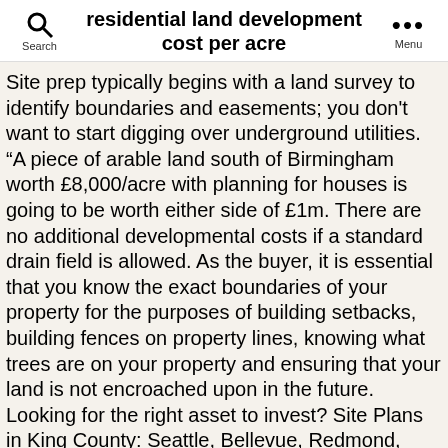residential land development cost per acre
Site prep typically begins with a land survey to identify boundaries and easements; you don't want to start digging over underground utilities. “A piece of arable land south of Birmingham worth £8,000/acre with planning for houses is going to be worth either side of £1m. There are no additional developmental costs if a standard drain field is allowed. As the buyer, it is essential that you know the exact boundaries of your property for the purposes of building setbacks, building fences on property lines, knowing what trees are on your property and ensuring that your land is not encroached upon in the future. Looking for the right asset to invest? Site Plans in King County: Seattle, Bellevue, Redmond, Kirkland Plot Plans, Top 15 Solar Powered Home Designs, Plus their Costs, Modular Home Costs, Pros & Cons, Planning & Building – Definitive Guide, How to Draw a Site Plan for Your Property – DIY Plot Plan Options, Site Plans in Maricopa County, AZ – How to Get your Plot Plan Approved, Top 15